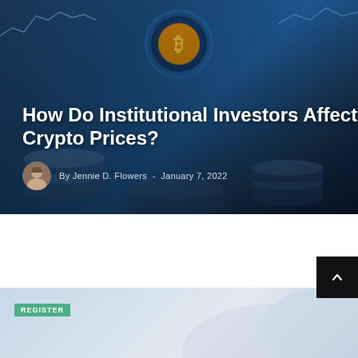[Figure (photo): Hero banner image of cryptocurrency coins with Bitcoin symbol overlay, blue-toned digital financial imagery]
How Do Institutional Investors Affect Crypto Prices?
By Jennie D. Flowers  -  January 7, 2022
[Figure (photo): Partial bottom card image with REGISTER tag label in green, appears to be a promotional or related article card with light blue-grey background]